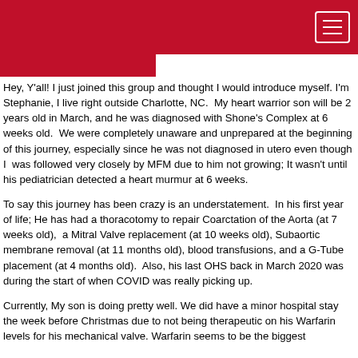[Red header bar with hamburger menu]
Hey, Y'all! I just joined this group and thought I would introduce myself. I'm Stephanie, I live right outside Charlotte, NC.  My heart warrior son will be 2 years old in March, and he was diagnosed with Shone's Complex at 6 weeks old.  We were completely unaware and unprepared at the beginning of this journey, especially since he was not diagnosed in utero even though I  was followed very closely by MFM due to him not growing; It wasn't until his pediatrician detected a heart murmur at 6 weeks.
To say this journey has been crazy is an understatement.  In his first year of life; He has had a thoracotomy to repair Coarctation of the Aorta (at 7 weeks old),  a Mitral Valve replacement (at 10 weeks old), Subaortic membrane removal (at 11 months old), blood transfusions, and a G-Tube placement (at 4 months old).  Also, his last OHS back in March 2020 was during the start of when COVID was really picking up.
Currently, My son is doing pretty well. We did have a minor hospital stay the week before Christmas due to not being therapeutic on his Warfarin levels for his mechanical valve. Warfarin seems to be the biggest